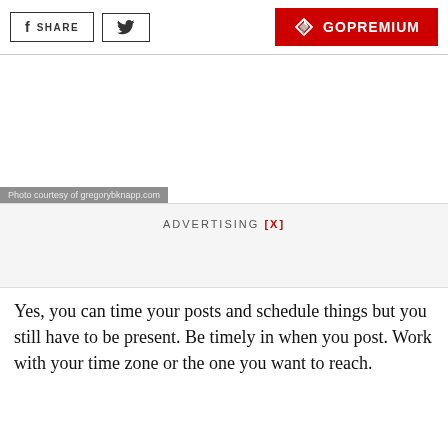SHARE | [twitter] | GOPREMIUM
[Figure (photo): Photo area (image content not visible), with caption overlay: Photo courtesy of gregorybknapp.com]
Photo courtesy of gregorybknapp.com
ADVERTISING [X]
Yes, you can time your posts and schedule things but you still have to be present. Be timely in when you post. Work with your time zone or the one you want to reach.